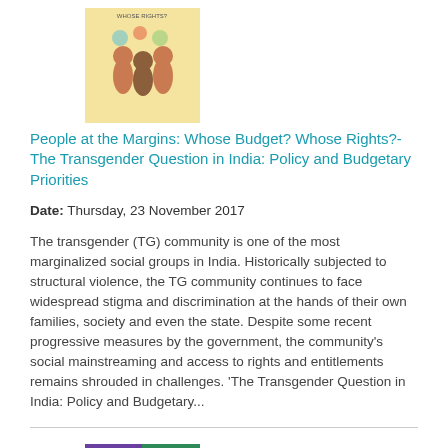[Figure (illustration): Book cover thumbnail for 'Whose Budget? Whose Rights?' with illustrated figures on yellow background]
People at the Margins: Whose Budget? Whose Rights?- The Transgender Question in India: Policy and Budgetary Priorities
Date: Thursday, 23 November 2017
The transgender (TG) community is one of the most marginalized social groups in India. Historically subjected to structural violence, the TG community continues to face widespread stigma and discrimination at the hands of their own families, society and even the state. Despite some recent progressive measures by the government, the community's social mainstreaming and access to rights and entitlements remains shrouded in challenges. 'The Transgender Question in India: Policy and Budgetary...
[Figure (illustration): Book cover thumbnail with colorful design showing climate/gender adaptation topics]